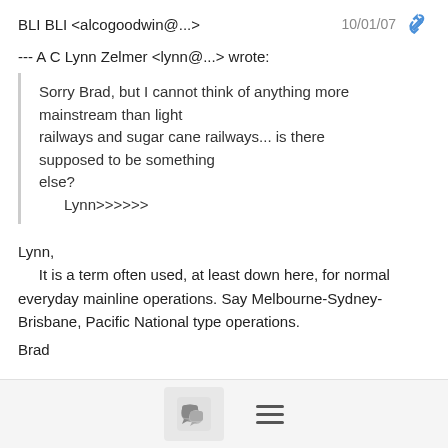BLI BLI <alcogoodwin@...>   10/01/07
--- A C Lynn Zelmer <lynn@...> wrote:
Sorry Brad, but I cannot think of anything more mainstream than light railways and sugar cane railways... is there supposed to be something else?
        Lynn>>>>>>
Lynn,
    It is a term often used, at least down here, for normal everyday mainline operations. Say Melbourne-Sydney-Brisbane, Pacific National type operations.
Brad
[Figure (other): Bottom toolbar with chat bubble icon button and hamburger menu icon]